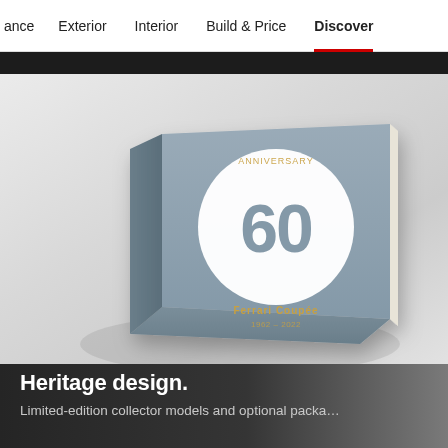ance  Exterior  Interior  Build & Price  Discover
[Figure (photo): A gray hardcover book photographed at an angle, showing its cover with a large white circle containing the number 60 in gray, with gold text above and below the circle on the cover. The book rests on a light gray surface.]
Heritage design.
Limited-edition collector models and optional packa…